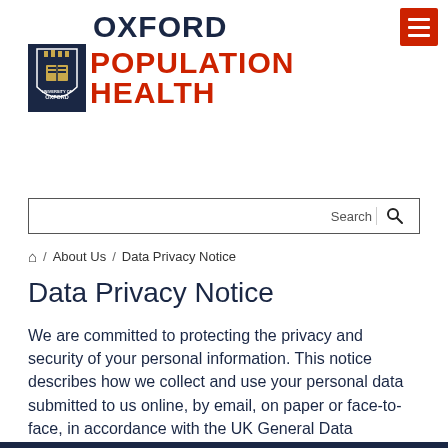[Figure (logo): Oxford Population Health logo with University of Oxford shield, OXFORD text in dark navy and POPULATION HEALTH in red, with hamburger menu button in red at top right]
Search
🏠 / About Us / Data Privacy Notice
Data Privacy Notice
We are committed to protecting the privacy and security of your personal information. This notice describes how we collect and use your personal data submitted to us online, by email, on paper or face-to-face, in accordance with the UK General Data Protection Regulation (UK GDPR) and associated data protection legislation.